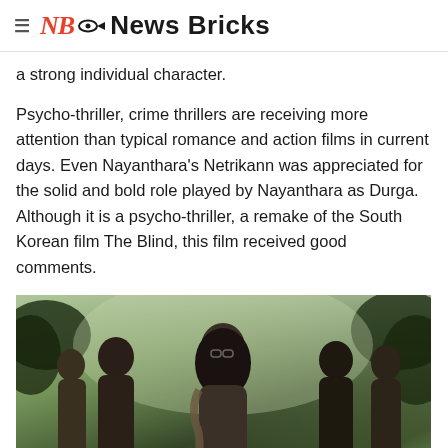≡ NB News Bricks
a strong individual character.
Psycho-thriller, crime thrillers are receiving more attention than typical romance and action films in current days. Even Nayanthara's Netrikann was appreciated for the solid and bold role played by Nayanthara as Durga. Although it is a psycho-thriller, a remake of the South Korean film The Blind, this film received good comments.
[Figure (photo): Movie poster showing a group of characters standing together in a forest/jungle setting. A central female character wearing glasses is prominently featured, surrounded by other characters. Watermarks read 'CHITRASUNRAMI' on bottom left and 'PREMIERING ON' with Star logo on bottom right.]